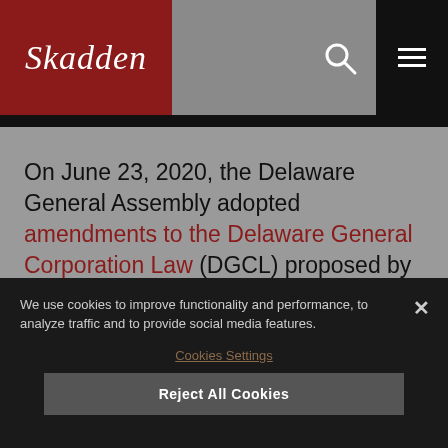Skadden
On June 23, 2020, the Delaware General Assembly adopted amendments to the Delaware General Corporation Law (DGCL) proposed by the Delaware State Bar Association, including provisions confirming certain powers that a board
We use cookies to improve functionality and performance, to analyze traffic and to provide social media features.
Cookies Settings
Reject All Cookies